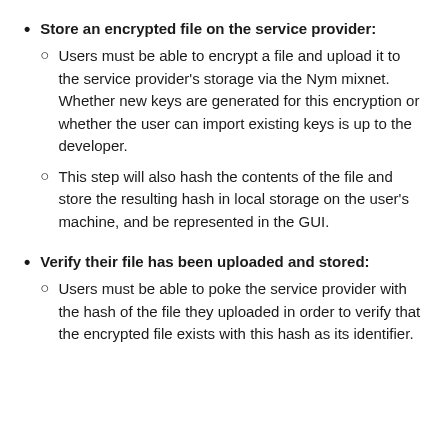Store an encrypted file on the service provider:
Users must be able to encrypt a file and upload it to the service provider's storage via the Nym mixnet. Whether new keys are generated for this encryption or whether the user can import existing keys is up to the developer.
This step will also hash the contents of the file and store the resulting hash in local storage on the user's machine, and be represented in the GUI.
Verify their file has been uploaded and stored:
Users must be able to poke the service provider with the hash of the file they uploaded in order to verify that the encrypted file exists with this hash as its identifier.